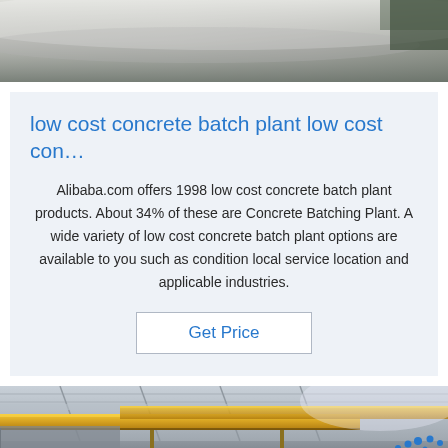[Figure (photo): Close-up photo of a metallic curved surface, likely industrial equipment, with silver/grey tones and a dark green element visible at the upper right corner.]
low cost concrete batch plant low cost con…
Alibaba.com offers 1998 low cost concrete batch plant products. About 34% of these are Concrete Batching Plant. A wide variety of low cost concrete batch plant options are available to you such as condition local service location and applicable industries.
Get Price
[Figure (photo): Industrial factory interior showing overhead yellow crane beams, structural ceiling elements, and large cylindrical tanks or rolls in the foreground. A 'TOP' logo with blue dots is visible in the lower right.]